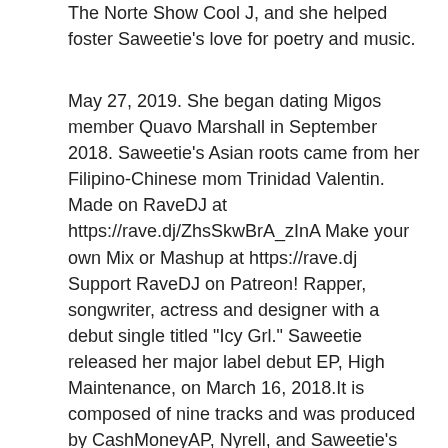The Norte Show Cool J, and she helped foster Saweetie's love for poetry and music.
May 27, 2019. She began dating Migos member Quavo Marshall in September 2018. Saweetie's Asian roots came from her Filipino-Chinese mom Trinidad Valentin. Made on RaveDJ at https://rave.dj/ZhsSkwBrA_zInA Make your own Mix or Mashup at https://rave.dj Support RaveDJ on Patreon! Rapper, songwriter, actress and designer with a debut single titled "Icy Grl." Saweetie released her major label debut EP, High Maintenance, on March 16, 2018.It is composed of nine tracks and was produced by CashMoneyAP, Nyrell, and Saweetie's cousin, Zaytoven. She has twin sisters named Maya and Milan. Picture: Getty, See the full gallery: 23 facts you need to know about 'ICY GRL' rapper Saweetie, : 23 facts you need to know about 'ICY GRL' rapper Saweetie, 16 facts you need to know about 'Wake Up Love' singer, Great Black Britons: Influential figures championing, Drake new album 'Certified Lover Boy' 2020: release date, Rihanna's new album: release date, tracklist & everything, QUIZ: Only a true Eminem fan can match these lyrics to, Notorious B.I.G's unreleased 1997 freestyle featured in, 23 facts you need to know about 'ICY GRL' rapper Saweetie. Saweetie's parents played music from R&B stars such as Tevin Campbell, Delfonics, and